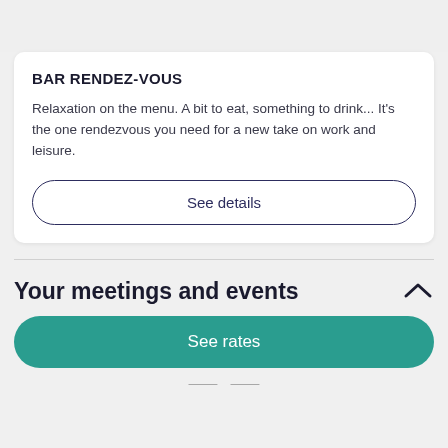BAR RENDEZ-VOUS
Relaxation on the menu. A bit to eat, something to drink... It's the one rendezvous you need for a new take on work and leisure.
See details
Your meetings and events
See rates